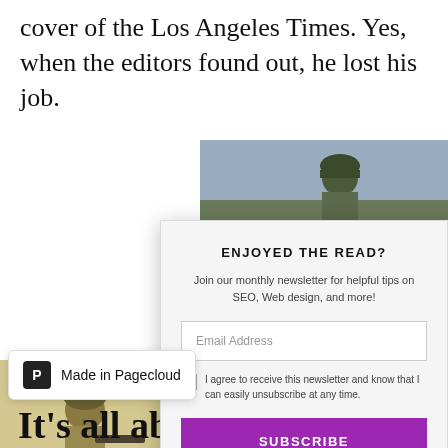cover of the Los Angeles Times. Yes, when the editors found out, he lost his job.
[Figure (photo): Soldier in military gear against cloudy sky, upper portion cropped]
[Figure (photo): Soldier in desert military uniform holding a weapon, partial view]
[Figure (other): Newsletter subscription modal popup with title ENJOYED THE READ?, email input, checkbox consent, and purple SUBSCRIBE button]
Made in Pagecloud
It's all about trial and